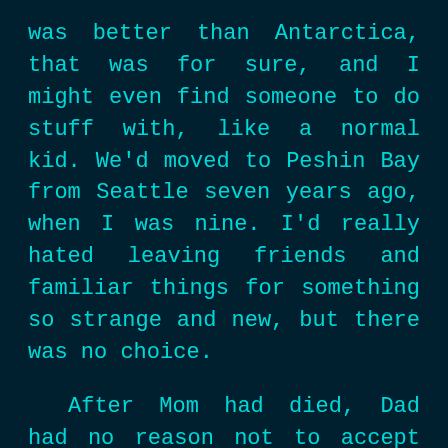was better than Antarctica, that was for sure, and I might even find someone to do stuff with, like a normal kid. We'd moved to Peshin Bay from Seattle seven years ago, when I was nine. I'd really hated leaving friends and familiar things for something so strange and new, but there was no choice.

After Mom had died, Dad had no reason not to accept the transfer, not even me. Mom's job had kept us in Seattle, paid most of the bills and such. But now, Dad was having to pay them all, alone, and this job would do